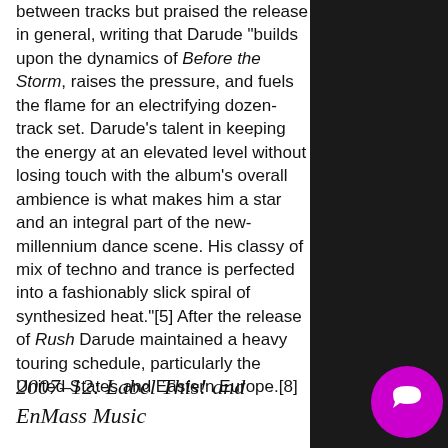between tracks but praised the release in general, writing that Darude "builds upon the dynamics of Before the Storm, raises the pressure, and fuels the flame for an electrifying dozen-track set. Darude's talent in keeping the energy at an elevated level without losing touch with the album's overall ambience is what makes him a star and an integral part of the new-millennium dance scene. His classy of mix of techno and trance is perfected into a fashionably slick spiral of synthesized heat."[5] After the release of Rush Darude maintained a heavy touring schedule, particularly the United States and Eastern Europe.[8]
2007–12: Label This! and EnMass Music
[Figure (other): Purple/magenta circular chat bubble icon button in bottom-right corner]